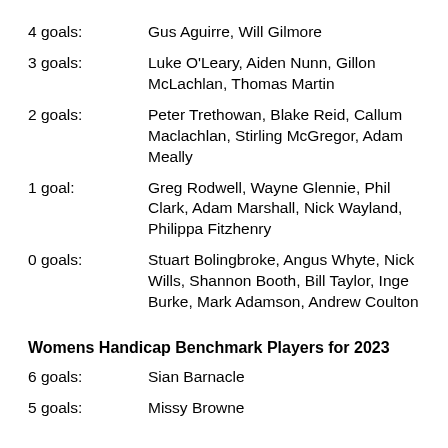4 goals:    Gus Aguirre, Will Gilmore
3 goals:    Luke O'Leary, Aiden Nunn, Gillon McLachlan, Thomas Martin
2 goals:    Peter Trethowan, Blake Reid, Callum Maclachlan, Stirling McGregor, Adam Meally
1 goal:    Greg Rodwell, Wayne Glennie, Phil Clark, Adam Marshall, Nick Wayland, Philippa Fitzhenry
0 goals:    Stuart Bolingbroke, Angus Whyte, Nick Wills, Shannon Booth, Bill Taylor, Inge Burke, Mark Adamson, Andrew Coulton
Womens Handicap Benchmark Players for 2023
6 goals:    Sian Barnacle
5 goals:    Missy Browne